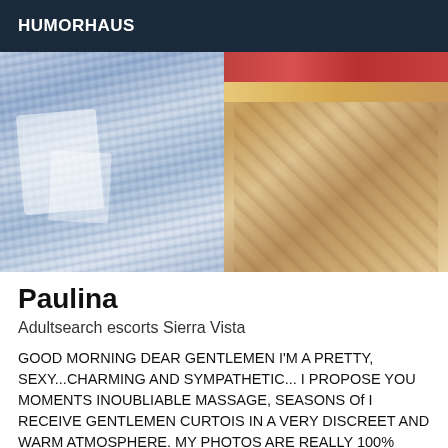HUMORHAUS
[Figure (photo): Photo showing torn/distressed blue jeans on the left side and what appears to be a pizza on the right side]
Paulina
Adultsearch escorts Sierra Vista
GOOD MORNING DEAR GENTLEMEN I'M A PRETTY, SEXY...CHARMING AND SYMPATHETIC... I PROPOSE YOU MOMENTS INOUBLIABLE MASSAGE, SEASONS Of I RECEIVE GENTLEMEN CURTOIS IN A VERY DISCREET AND WARM ATMOSPHERE. MY PHOTOS ARE REALLY 100% REAL, NO BAD SURPRISES